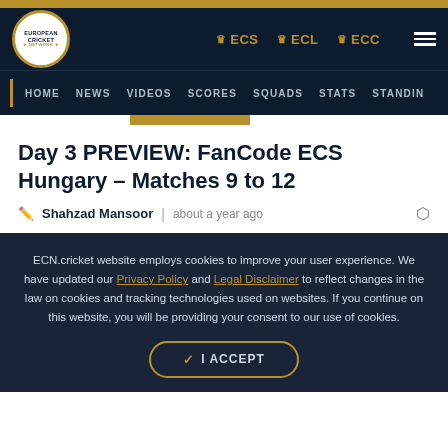European Cricket Network — ECS ECL ECC navigation header
HOME | NEWS | VIDEOS | SCORES | SQUADS | STATS | STANDIN
Day 3 PREVIEW: FanCode ECS Hungary – Matches 9 to 12
Shahzad Mansoor | about a year ago
ECN.cricket website employs cookies to improve your user experience. We have updated our Privacy Policy and Legal Disclaimer to reflect changes in the law on cookies and tracking technologies used on websites. If you continue on this website, you will be providing your consent to our use of cookies.
✓ I ACCEPT